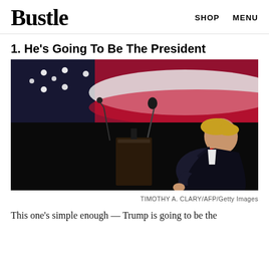Bustle   SHOP   MENU
1. He's Going To Be The President
[Figure (photo): A man in a dark suit speaking at a podium microphone, with a large illuminated American flag in the background on a dark stage.]
TIMOTHY A. CLARY/AFP/Getty Images
This one's simple enough — Trump is going to be the